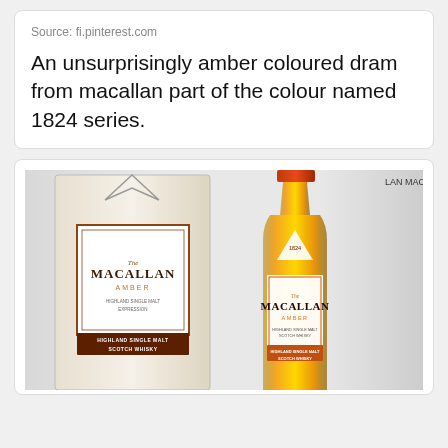Source: fi.pinterest.com
An unsurprisingly amber coloured dram from macallan part of the colour named 1824 series.
[Figure (photo): Photo of The Macallan Amber Highland Single Malt Scotch Whisky bottle and box, showing amber-colored liquid in bottle with orange label and white/brown packaging box beside it.]